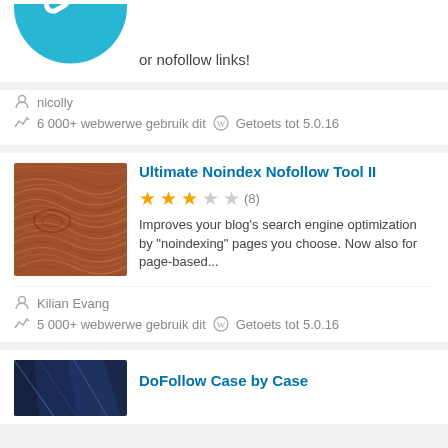[Figure (illustration): Partial blue circular plugin icon with white link/chain symbol, cropped at top]
or nofollow links!
nicolly
6 000+ webwerwe gebruik dit  Getoets tot 5.0.16
[Figure (illustration): Brown wood grain texture square image for Ultimate Noindex Nofollow Tool II plugin]
Ultimate Noindex Nofollow Tool II
(8) rating: 2.5 stars out of 5
Improves your blog's search engine optimization by "noindexing" pages you choose. Now also for page-based...
Kilian Evang
5 000+ webwerwe gebruik dit  Getoets tot 5.0.16
[Figure (illustration): Partial dark blue plugin icon for DoFollow Case by Case, cropped at bottom]
DoFollow Case by Case